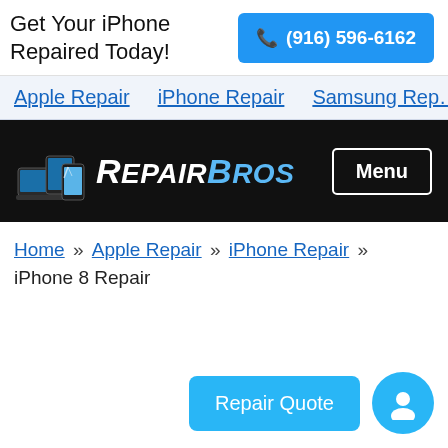Get Your iPhone Repaired Today!
📞 (916) 596-6162
Apple Repair   iPhone Repair   Samsung Rep…
[Figure (logo): RepairBros logo with stacked devices icon on black background, text reads 'RepairBros' with Menu button]
Home » Apple Repair » iPhone Repair » iPhone 8 Repair
Repair Quote
[Figure (illustration): Blue circular user/account icon button]